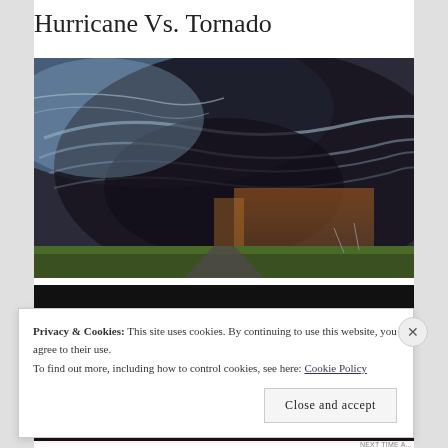Hurricane Vs. Tornado
[Figure (photo): Dramatic photograph of a large rotating supercell storm/tornado over a flat landscape with golden light and dark swirling clouds against a rural road and fields]
[Figure (other): Black bar / redacted video thumbnail element]
Privacy & Cookies: This site uses cookies. By continuing to use this website, you agree to their use.
To find out more, including how to control cookies, see here: Cookie Policy
Close and accept